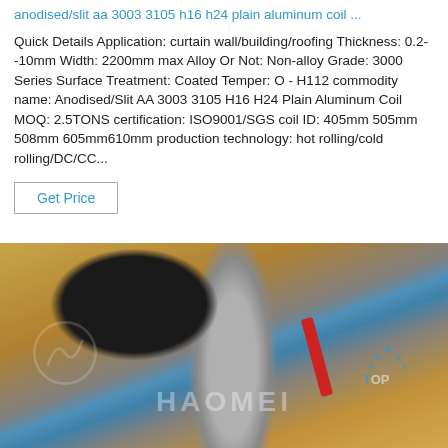anodised/slit aa 3003 3105 h16 h24 plain aluminum coil ...
Quick Details Application: curtain wall/building/roofing Thickness: 0.2--10mm Width: 2200mm max Alloy Or Not: Non-alloy Grade: 3000 Series Surface Treatment: Coated Temper: O - H112 commodity name: Anodised/Slit AA 3003 3105 H16 H24 Plain Aluminum Coil MOQ: 2.5TONS certification: ISO9001/SGS coil ID: 405mm 505mm 508mm 605mm610mm production technology: hot rolling/cold rolling/DC/CC...
Get Price
[Figure (photo): Close-up photo of a cutting or grinding tool with blue handle/grip, silver metal shaft, being used on what appears to be aluminum coil material. Haomei watermark logo visible.]